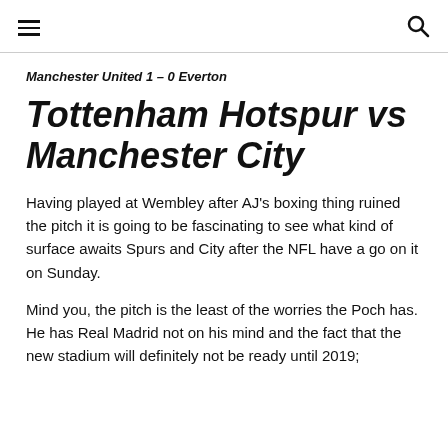≡  🔍
Manchester United 1 – 0 Everton
Tottenham Hotspur vs Manchester City
Having played at Wembley after AJ's boxing thing ruined the pitch it is going to be fascinating to see what kind of surface awaits Spurs and City after the NFL have a go on it on Sunday.
Mind you, the pitch is the least of the worries the Poch has. He has Real Madrid not on his mind and the fact that the new stadium will definitely not be ready until 2019;